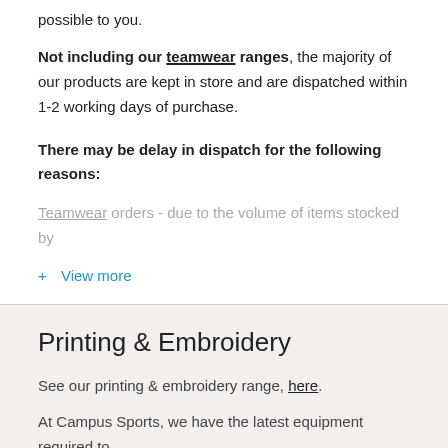possible to you.
Not including our teamwear ranges, the majority of our products are kept in store and are dispatched within 1-2 working days of purchase.
There may be delay in dispatch for the following reasons:
Teamwear orders - due to the volume of items stocked by
+ View more
Printing & Embroidery
See our printing & embroidery range, here.
At Campus Sports, we have the latest equipment required to